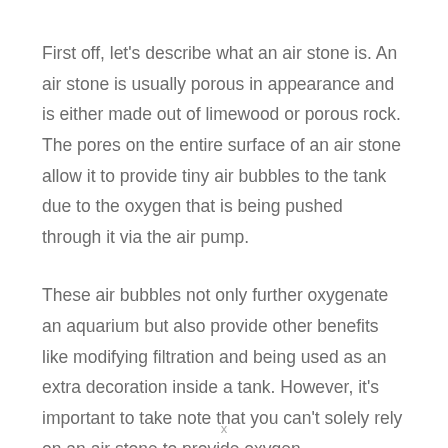First off, let's describe what an air stone is. An air stone is usually porous in appearance and is either made out of limewood or porous rock. The pores on the entire surface of an air stone allow it to provide tiny air bubbles to the tank due to the oxygen that is being pushed through it via the air pump.
These air bubbles not only further oxygenate an aquarium but also provide other benefits like modifying filtration and being used as an extra decoration inside a tank. However, it's important to take note that you can't solely rely on an air stone to provide oxygen.
x